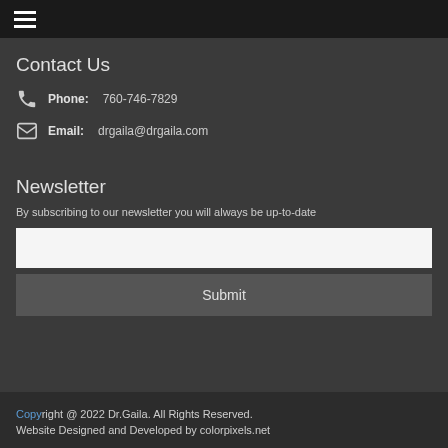☰
Contact Us
Phone: 760-746-7829
Email: drgaila@drgaila.com
Newsletter
By subscribing to our newsletter you will always be up-to-date
Submit
Copyright @ 2022 Dr.Gaila. All Rights Reserved. Website Designed and Developed by colorpixels.net